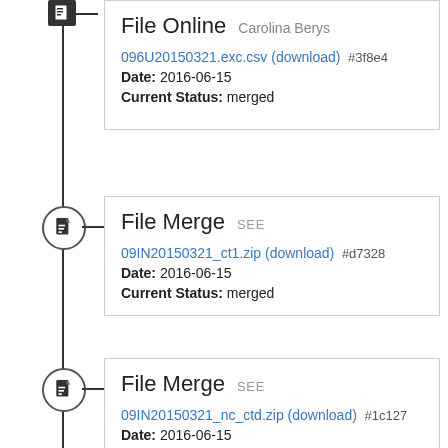File Online Carolina Berys
096U20150321.exc.csv (download) #3f8e4
Date: 2016-06-15
Current Status: merged
File Merge SEE
09IN20150321_ct1.zip (download) #d7328
Date: 2016-06-15
Current Status: merged
File Merge SEE
09IN20150321_nc_ctd.zip (download) #1c127
Date: 2016-06-15
Current Status: merged